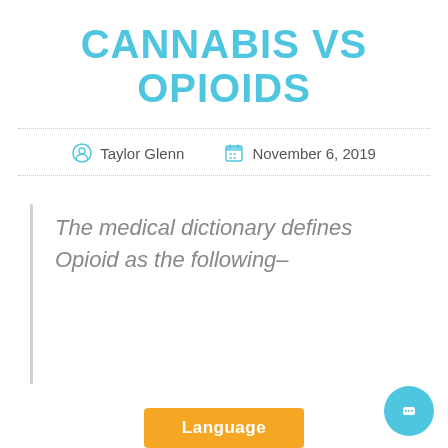CANNABIS VS OPIOIDS
Taylor Glenn   November 6, 2019
The medical dictionary defines Opioid as the following–
Language